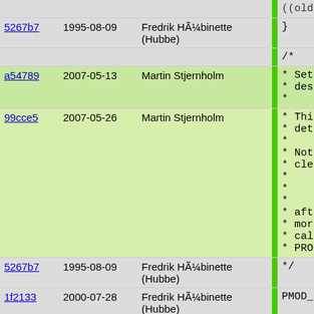| hash | date | author | bar | code |
| --- | --- | --- | --- | --- |
|  |  |  |  | ((oldhan |
| 5267b7 | 1995-08-09 | Fredrik HÃ¼binette (Hubbe) |  | } |
|  |  |  |  | /* |
| a54789 | 2007-05-13 | Martin Stjernholm |  | * Set a c
* destruc
* |
| 99cce5 | 2007-05-26 | Martin Stjernholm |  | * This fu
* details
*
* Note: I
* clearin
*
*     Pike_
*
* after t
* more ef
* called
* PROGRAM |
| 5267b7 | 1995-08-09 | Fredrik HÃ¼binette (Hubbe) |  | */ |
| 1f2133 | 2000-07-28 | Fredrik HÃ¼binette (Hubbe) |  | PMOD_EXPOR |
| 5267b7 | 1995-08-09 | Fredrik HÃ¼binette (Hubbe) |  | { |
| 763f68 | 2001-03-12 | Fredrik HÃ¼binette (Hubbe) |  | add_comp
((oldhan |
| 99cce5 | 2007-05-26 | Martin Stjernholm |  | Pike_com |